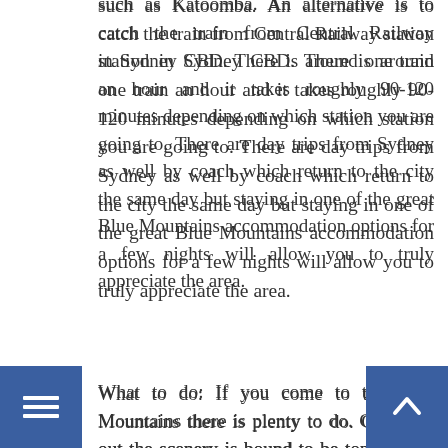such as Katoomba. An alternative is to catch the train from Central Railway station in Sydney CBD. There is around one train an hour and it takes roughly 90-120 minutes depending on which station you are going to. There are day trips from Sydney as well by coach which return to the city the same day but staying in one of the great Blue Mountains accommodation options for a few nights will allow you to truly appreciate the area.
What to do: If you come to the Blue Mountains there is plenty to do. Checking out the scenery is bound to be top of your list of things to do, so here are a few ideas.
Viewpoints: There are many breath taking viewpoints within the Blue Mountains. Among the most popular viewpoints are Echo Point in Katoomba which has been recently upgraded